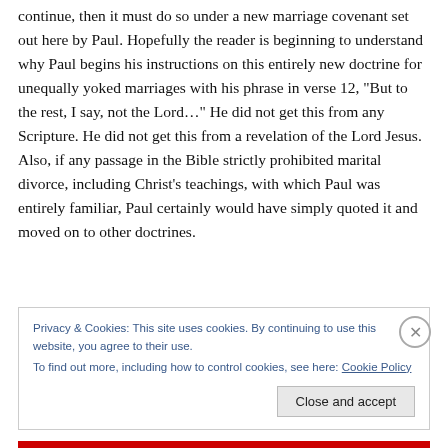continue, then it must do so under a new marriage covenant set out here by Paul.  Hopefully the reader is beginning to understand why Paul begins his instructions on this entirely new doctrine for unequally yoked marriages with his phrase in verse 12, “But to the rest, I say, not the Lord…”  He did not get this from any Scripture.  He did not get this from a revelation of the Lord Jesus.  Also, if any passage in the Bible strictly prohibited marital divorce, including Christ’s teachings, with which Paul was entirely familiar, Paul certainly would have simply quoted it and moved on to other doctrines.
Privacy & Cookies: This site uses cookies. By continuing to use this website, you agree to their use.
To find out more, including how to control cookies, see here: Cookie Policy